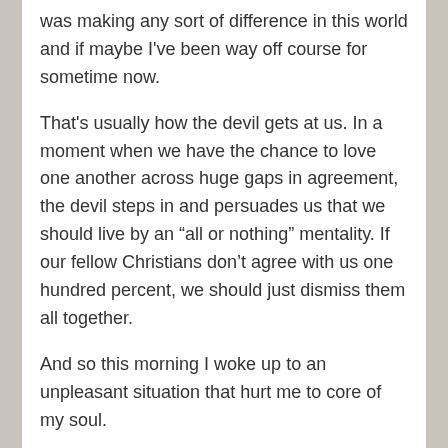was making any sort of difference in this world and if maybe I've been way off course for sometime now.
That's usually how the devil gets at us.  In a moment when we have the chance to love one another across huge gaps in agreement, the devil steps in and persuades us that we should live by an “all or nothing” mentality.  If our fellow Christians don’t agree with us one hundred percent, we should just dismiss them all together.
And so this morning I woke up to an unpleasant situation that hurt me to core of my soul.
So, I did what I’ve been doing so much of lately:  I prayed.
The prayer was simple.  I just asked God if I was